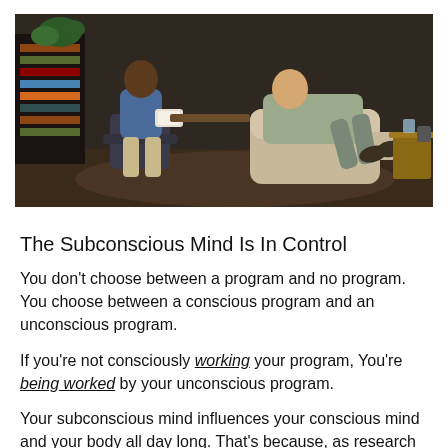[Figure (photo): A therapy or counseling session scene showing two people in an office room. One person (therapist) sits in an office chair, the other (patient) reclines in a beige/tan recliner chair with feet up. The room has bookshelves, a carpet, and a side table with a glass of water. The lighting is warm and dim.]
The Subconscious Mind Is In Control
You don't choose between a program and no program. You choose between a conscious program and an unconscious program.
If you're not consciously working your program, You're being worked by your unconscious program.
Your subconscious mind influences your conscious mind and your body all day long. That's because, as research from neuroscientists tells us, the mind is made up of 3% conscious and 97% subconscious. Only with tremendous effort and thousands upon